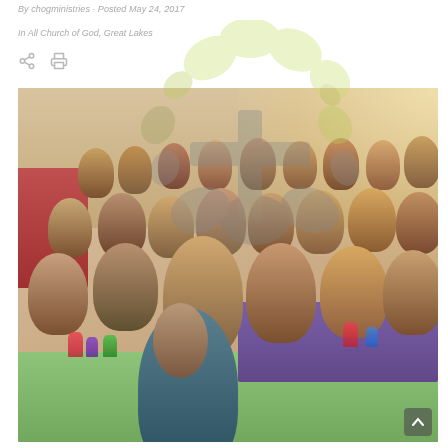By chogministries · Posted May 24, 2017
In All Church of God, Great Lakes
[Figure (logo): Church of God logo watermark — stylized tree/leaf motif in yellow-green and grey]
[Figure (photo): Group photo of women gathered at tables decorated with colorful flowers and table settings; women are smiling at the camera; tables covered with green, purple, and red tablecloths; warm yellow light flare in upper right; setting appears to be a church fellowship hall]